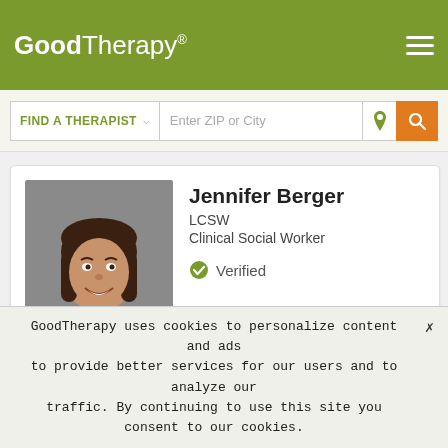GoodTherapy®
FIND A THERAPIST  Enter ZIP or City
[Figure (photo): Professional headshot of Jennifer Berger, a woman with shoulder-length brown hair, smiling, wearing a blue top, against a gray background]
Jennifer Berger
LCSW
Clinical Social Worker
✔ Verified
LONG BEACH, California 90807
Merced, California 95348
Life can be extremely challenging when dealing with the impact of
GoodTherapy uses cookies to personalize content and ads to provide better services for our users and to analyze our traffic. By continuing to use this site you consent to our cookies.